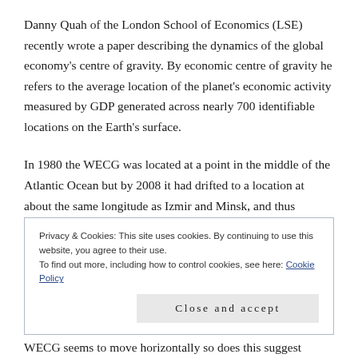Danny Quah of the London School of Economics (LSE) recently wrote a paper describing the dynamics of the global economy's centre of gravity. By economic centre of gravity he refers to the average location of the planet's economic activity measured by GDP generated across nearly 700 identifiable locations on the Earth's surface.
In 1980 the WECG was located at a point in the middle of the Atlantic Ocean but by 2008 it had drifted to a location at about the same longitude as Izmir and Minsk, and thus
Privacy & Cookies: This site uses cookies. By continuing to use this website, you agree to their use.
To find out more, including how to control cookies, see here: Cookie Policy
Close and accept
WECG seems to move horizontally so does this suggest